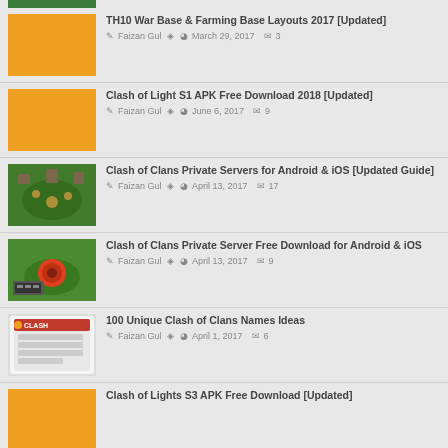TH10 War Base & Farming Base Layouts 2017 [Updated] — Faizan Gul · March 29, 2017 · 3 comments
Clash of Light S1 APK Free Download 2018 [Updated] — Faizan Gul · June 6, 2017 · 9 comments
Clash of Clans Private Servers for Android & iOS [Updated Guide] — Faizan Gul · April 13, 2017 · 17 comments
Clash of Clans Private Server Free Download for Android & iOS — Faizan Gul · April 13, 2017 · 9 comments
100 Unique Clash of Clans Names Ideas — Faizan Gul · April 1, 2017 · 6 comments
Clash of Lights S3 APK Free Download [Updated]